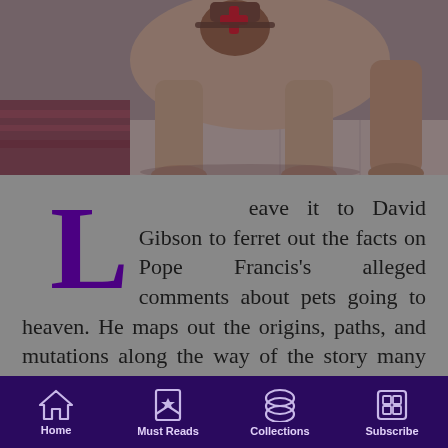[Figure (photo): A dog wearing a red cross medical badge/saddlebag on its back, standing on a patterned rug and tile floor. The image has a dark purple overlay tint.]
Leave it to David Gibson to ferret out the facts on Pope Francis's alleged comments about pets going to heaven. He maps out the origins, paths, and mutations along the way of the story many might have wanted to believe in spite of their doubts, and not just the doubt sparked by its appearance on the front page of the New York Times
Home   Must Reads   Collections   Subscribe